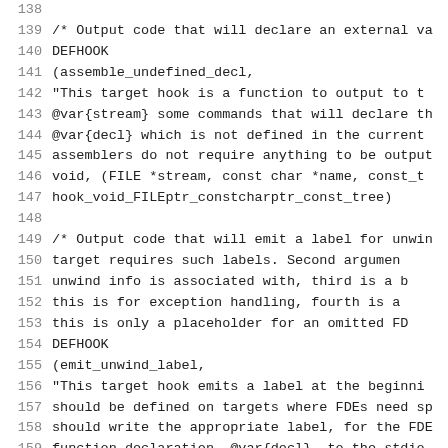138
139  /* Output code that will declare an external va
140  DEFHOOK
141  (assemble_undefined_decl,
142   "This target hook is a function to output to t
143  @var{stream} some commands that will declare th
144  @var{decl} which is not defined in the current
145  assemblers do not require anything to be output
146   void, (FILE *stream, const char *name, const_t
147   hook_void_FILEptr_constcharptr_const_tree)
148
149  /* Output code that will emit a label for unwin
150      target requires such labels.  Second argumen
151      unwind info is associated with, third is a b
152      this is for exception handling, fourth is a
153      this is only a placeholder for an omitted FD
154  DEFHOOK
155  (emit_unwind_label,
156   "This target hook emits a label at the beginni
157  should be defined on targets where FDEs need sp
158  should write the appropriate label, for the FDE
159  function_declaration, @var{decl}, to the stdio